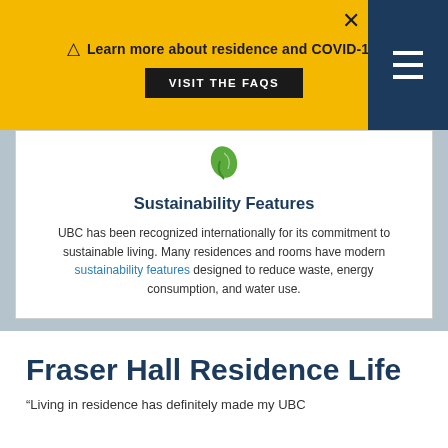Learn more about residence and COVID-19. VISIT THE FAQS
[Figure (illustration): Green leaf icon]
Sustainability Features
UBC has been recognized internationally for its commitment to sustainable living. Many residences and rooms have modern sustainability features designed to reduce waste, energy consumption, and water use.
Fraser Hall Residence Life
“Living in residence has definitely made my UBC